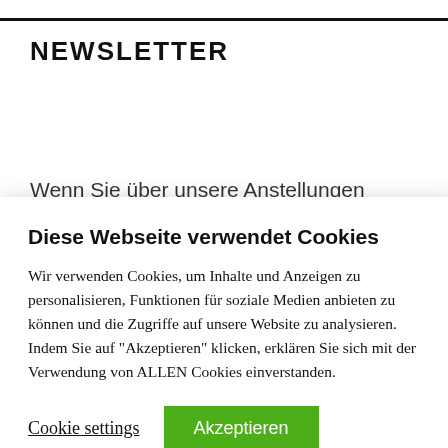NEWSLETTER
Wenn Sie über unsere Anstellun und n bleiben unserem
Diese Webseite verwendet Cookies
Wir verwenden Cookies, um Inhalte und Anzeigen zu personalisieren, Funktionen für soziale Medien anbieten zu können und die Zugriffe auf unsere Website zu analysieren. Indem Sie auf "Akzeptieren" klicken, erklären Sie sich mit der Verwendung von ALLEN Cookies einverstanden.
Cookie settings
Akzeptieren
akzeptieren
ABONNIEREN